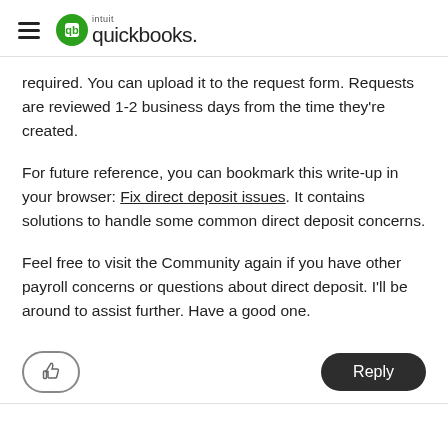intuit quickbooks
required. You can upload it to the request form. Requests are reviewed 1-2 business days from the time they're created.
For future reference, you can bookmark this write-up in your browser: Fix direct deposit issues. It contains solutions to handle some common direct deposit concerns.
Feel free to visit the Community again if you have other payroll concerns or questions about direct deposit. I'll be around to assist further. Have a good one.